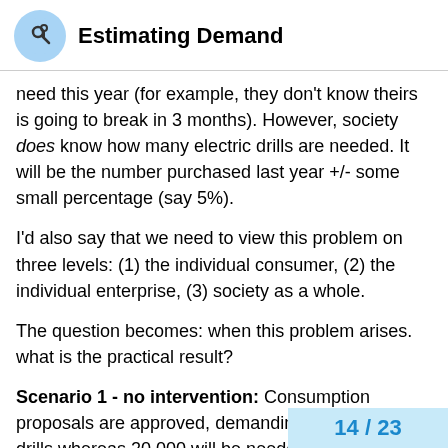Estimating Demand
need this year (for example, they don't know theirs is going to break in 3 months). However, society does know how many electric drills are needed. It will be the number purchased last year +/- some small percentage (say 5%).
I'd also say that we need to view this problem on three levels: (1) the individual consumer, (2) the individual enterprise, (3) society as a whole.
The question becomes: when this problem arises. what is the practical result?
Scenario 1 - no intervention: Consumption proposals are approved, demanding 10,000 electric drills whereas 20,000 will be needed. This results in a shortage of electric drills produced in January. The shops respond by raising prices. The electric drill producers receive this information and ramp up production, hence requesting additional inputs from other worker councils. the results of which are unclear to me.
14 / 23